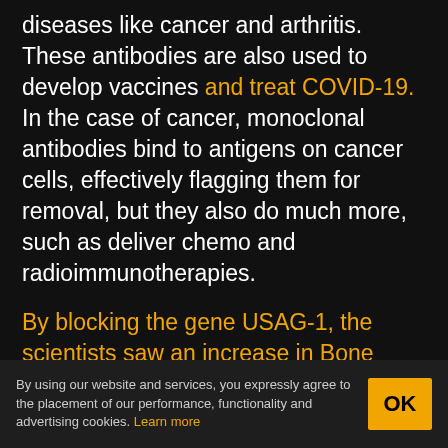diseases like cancer and arthritis. These antibodies are also used to develop vaccines and treat COVID-19. In the case of cancer, monoclonal antibodies bind to antigens on cancer cells, effectively flagging them for removal, but they also do much more, such as deliver chemo and radioimmunotherapies.
By blocking the gene USAG-1, the scientists saw an increase in Bone Morphogenic Protein (BMP), which is a molecule that dictates the number of teeth a given creature will have in the first place. Because of this increase in
By using our website and services, you expressly agree to the placement of our performance, functionality and advertising cookies. Learn more